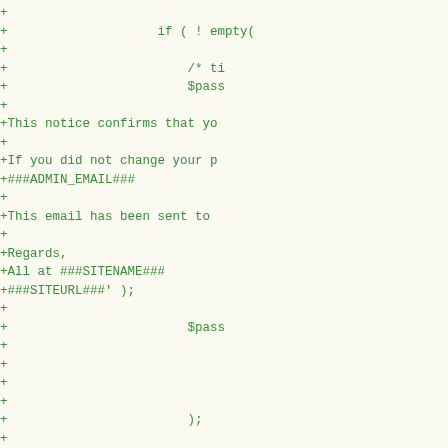Code diff showing additions with + prefix, PHP code including if (!empty()), $pass variables, email template text with placeholders (###ADMIN_EMAIL###, ###SITENAME###, ###SITEURL###), and JSDoc comments with * F:, * @s, * @p markers